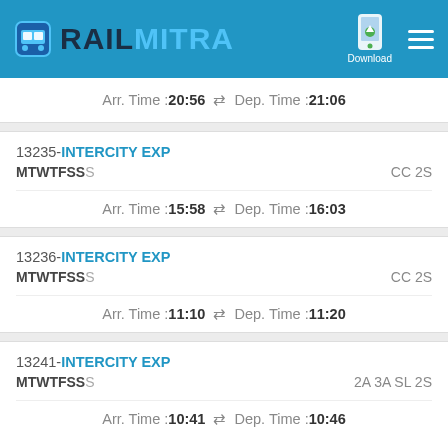RAILMITRA
Arr. Time :20:56  ⇌  Dep. Time :21:06
13235-INTERCITY EXP
MTWTFSS    CC 2S
Arr. Time :15:58  ⇌  Dep. Time :16:03
13236-INTERCITY EXP
MTWTFSS    CC 2S
Arr. Time :11:10  ⇌  Dep. Time :11:20
13241-INTERCITY EXP
MTWTFSS    2A 3A SL 2S
Arr. Time :10:41  ⇌  Dep. Time :10:46